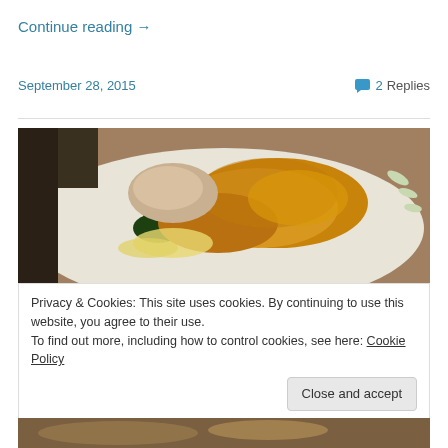Continue reading →
September 28, 2015
💬 2 Replies
[Figure (photo): Close-up photo of a breaded and fried food item (appears to be chicken kiev or similar stuffed chicken) on a decorative plate with leaf pattern, with melted cheese or sauce and spinach visible]
Privacy & Cookies: This site uses cookies. By continuing to use this website, you agree to their use.
To find out more, including how to control cookies, see here: Cookie Policy
Close and accept
[Figure (photo): Partial view of another food photo at the bottom of the page]